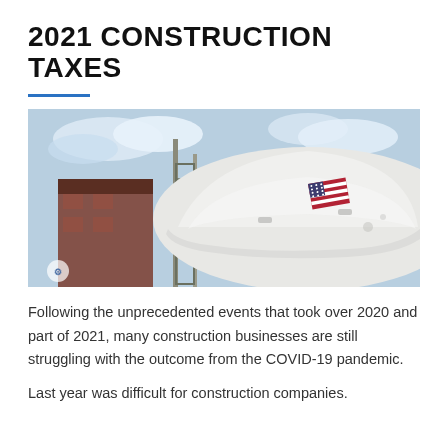2021 CONSTRUCTION TAXES
[Figure (photo): Close-up photograph of a white construction hard hat with a small American flag sticker on it, with a blurred construction site background featuring scaffolding and a building under construction.]
Following the unprecedented events that took over 2020 and part of 2021, many construction businesses are still struggling with the outcome from the COVID-19 pandemic.
Last year was difficult for construction companies.